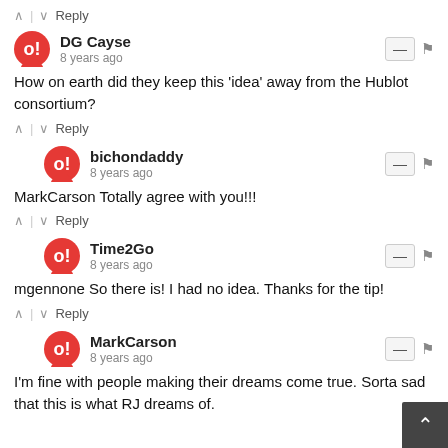↑ | ↓ Reply
DG Cayse
8 years ago
How on earth did they keep this 'idea' away from the Hublot consortium?
↑ | ↓ Reply
bichondaddy
8 years ago
MarkCarson Totally agree with you!!!
↑ | ↓ Reply
Time2Go
8 years ago
mgennone So there is!  I had no idea.  Thanks for the tip!
↑ | ↓ Reply
MarkCarson
8 years ago
I'm fine with people making their dreams come true. Sorta sad that this is what RJ dreams of.